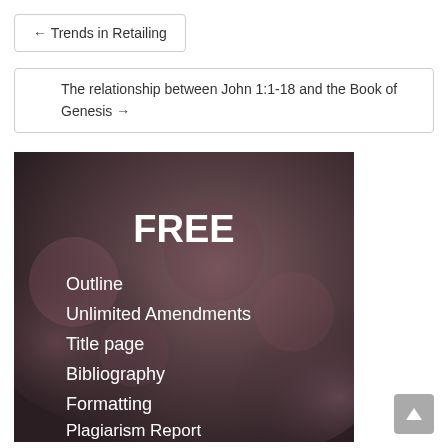← Trends in Retailing
The relationship between John 1:1-18 and the Book of Genesis →
[Figure (infographic): Dark blurred background image with white text advertising FREE services: Outline, Unlimited Amendments, Title page, Bibliography, Formatting, Plagiarism Report]